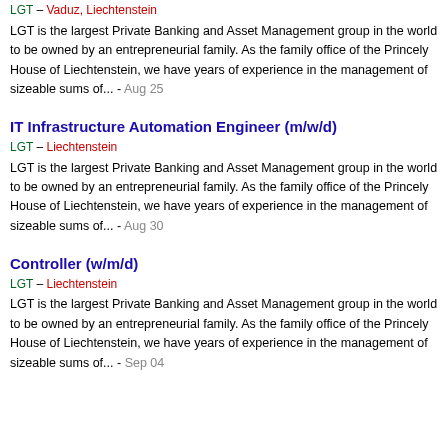LGT – Vaduz, Liechtenstein
LGT is the largest Private Banking and Asset Management group in the world to be owned by an entrepreneurial family. As the family office of the Princely House of Liechtenstein, we have years of experience in the management of sizeable sums of... - Aug 25
IT Infrastructure Automation Engineer (m/w/d)
LGT – Liechtenstein
LGT is the largest Private Banking and Asset Management group in the world to be owned by an entrepreneurial family. As the family office of the Princely House of Liechtenstein, we have years of experience in the management of sizeable sums of... - Aug 30
Controller (w/m/d)
LGT – Liechtenstein
LGT is the largest Private Banking and Asset Management group in the world to be owned by an entrepreneurial family. As the family office of the Princely House of Liechtenstein, we have years of experience in the management of sizeable sums of... - Sep 04